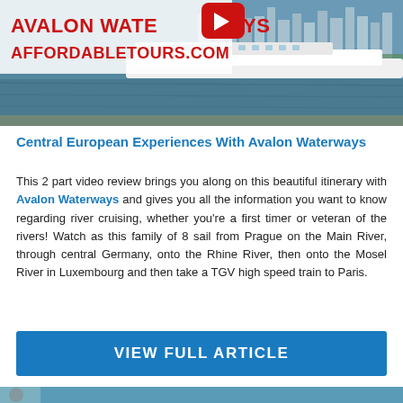[Figure (photo): Hero image of Avalon Waterways river cruise ship on a river with buildings in background. White overlay box with red bold text 'AVALON WATERWAYS' and 'AFFORDABLETOURS.COM', and a red YouTube play button icon.]
Central European Experiences With Avalon Waterways
This 2 part video review brings you along on this beautiful itinerary with Avalon Waterways and gives you all the information you want to know regarding river cruising, whether you're a first timer or veteran of the rivers! Watch as this family of 8 sail from Prague on the Main River, through central Germany, onto the Rhine River, then onto the Mosel River in Luxembourg and then take a TGV high speed train to Paris.
VIEW FULL ARTICLE
[Figure (photo): Bottom strip showing partial image of next article/content section.]